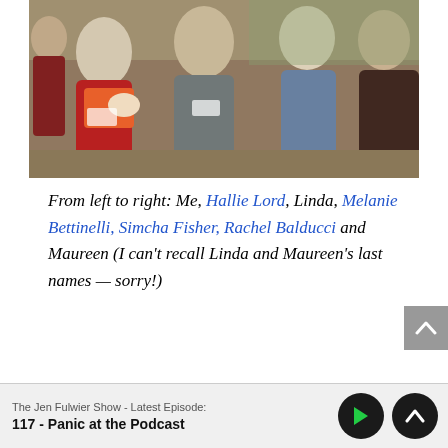[Figure (photo): Group photo of five women sitting together indoors at what appears to be an event or gathering. One woman on the left is wearing a red cardigan and holding a baby in a colorful sling. The other women are seated nearby, some wearing name tags. Background shows other people and tables.]
From left to right: Me, Hallie Lord, Linda, Melanie Bettinelli, Simcha Fisher, Rachel Balducci and Maureen (I can't recall Linda and Maureen's last names — sorry!)
The Jen Fulwiler Show - Latest Episode:
117 - Panic at the Podcast